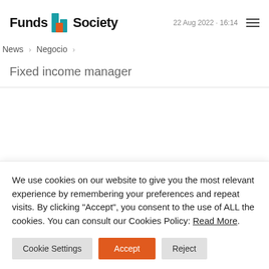[Figure (logo): Funds Society logo with teal and orange building icon between 'Funds' and 'Society' text]
22 Aug 2022 · 16:14
News › Negocio ›
Fixed income manager
We use cookies on our website to give you the most relevant experience by remembering your preferences and repeat visits. By clicking "Accept", you consent to the use of ALL the cookies. You can consult our Cookies Policy: Read More.
Cookie Settings | Accept | Reject